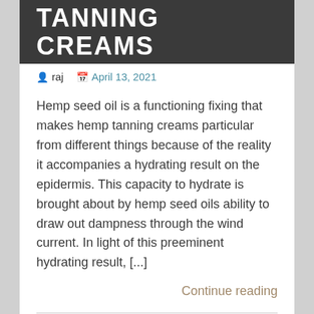TANNING CREAMS
raj   April 13, 2021
Hemp seed oil is a functioning fixing that makes hemp tanning creams particular from different things because of the reality it accompanies a hydrating result on the epidermis. This capacity to hydrate is brought about by hemp seed oils ability to draw out dampness through the wind current. In light of this preeminent hydrating result, [...]
Continue reading
Health